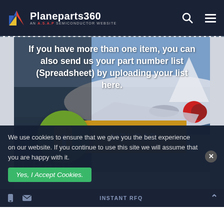Planeparts360 — AN A.S.A.P SEMICONDUCTOR WEBSITE
[Figure (screenshot): Airplane on tarmac with workers, used as background image for upload section]
If you have more than one item, you can also send us your part number list (Spreadsheet) by uploading your list here.
[Figure (illustration): Green circle with file upload icon and yellow UPLOAD button]
We use cookies to ensure that we give you the best experience on our website. If you continue to use this site we will assume that you are happy with it.
Yes, I Accept Cookies.
INSTANT RFQ